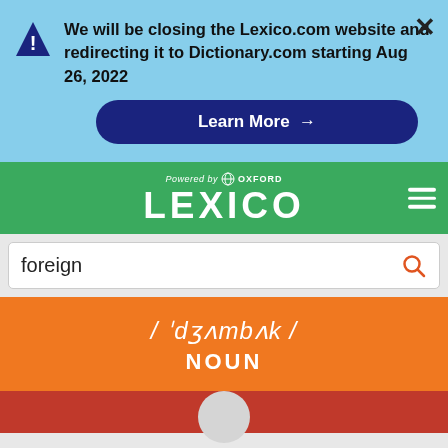We will be closing the Lexico.com website and redirecting it to Dictionary.com starting Aug 26, 2022
Learn More →
Powered by OXFORD LEXICO
foreign
/ ˈdʒʌmbʌk / NOUN